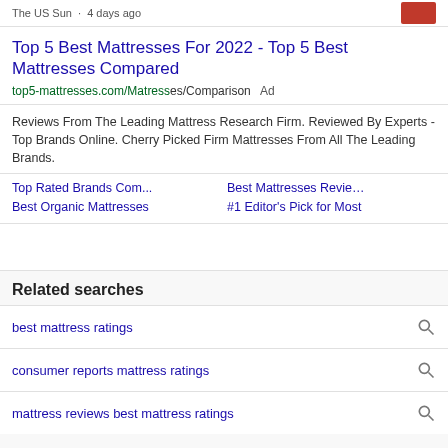The US Sun · 4 days ago
Top 5 Best Mattresses For 2022 - Top 5 Best Mattresses Compared
top5-mattresses.com/Mattresses/Comparison  Ad
Reviews From The Leading Mattress Research Firm. Reviewed By Experts - Top Brands Online. Cherry Picked Firm Mattresses From All The Leading Brands.
Top Rated Brands Com...
Best Mattresses Revie...
Best Organic Mattresses
#1 Editor's Pick for Most
Related searches
best mattress ratings
consumer reports mattress ratings
mattress reviews best mattress ratings